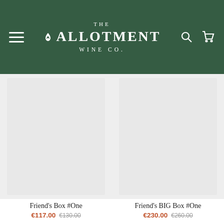THE ALLOTMENT WINE CO.
[Figure (photo): Product image placeholder (light grey rectangle) for Friend's Box #One]
[Figure (photo): Product image placeholder (light grey rectangle) for Friend's BIG Box #One]
Friend's Box #One
€117.00  €130.00
Friend's BIG Box #One
€230.00  €260.00